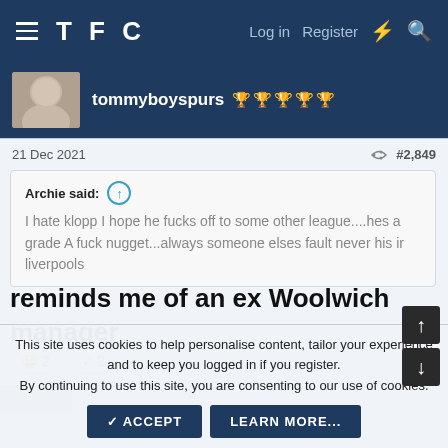TFC — Log in  Register
tommyboyspurs 🏆🏆🏆🏆🏆
21 Dec 2021  #2,849
Archie said: I hate klopp I hope he fucks off to some other league....hes a grade A fuck nugget...always someone elses fault never his ir liverpools
reminds me of an ex Woolwich manager
😄 2  ✓ 2
This site uses cookies to help personalise content, tailor your experience and to keep you logged in if you register. By continuing to use this site, you are consenting to our use of cookies. ACCEPT  LEARN MORE...